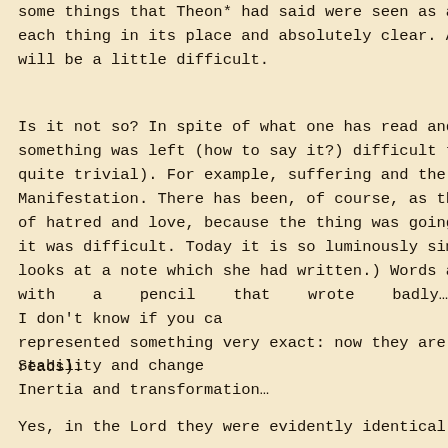some things that Theon* had said were seen as a co each thing in its place and absolutely clear. At that time will be a little difficult.
Is it not so? In spite of what one has read and all t something was left (how to say it?) difficult to “explain quite trivial). For example, suffering and the will to in Manifestation. There has been, of course, as though a p of hatred and love, because the thing was going to the it was difficult. Today it is so luminously simple, yes, it i looks at a note which she had written.) Words are not with a pencil that wrote badly…I don’t know if you ca represented something very exact: now they are no reads):
Stability and change
Inertia and transformation…
Yes, in the Lord they were evidently identical principles